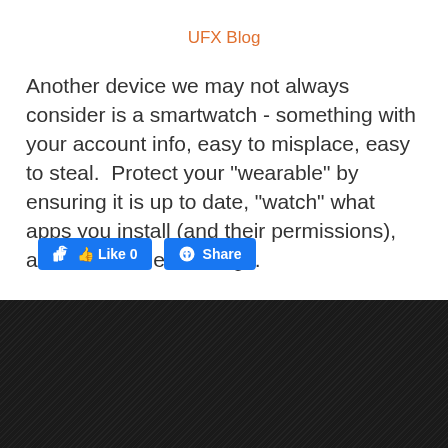UFX Blog
Another device we may not always consider is a smartwatch - something with your account info, easy to misplace, easy to steal.  Protect your "wearable" by ensuring it is up to date, "watch" what apps you install (and their permissions), and enable theft settings.
[Figure (screenshot): Facebook Like (0) and Share buttons]
Terms of Use
BSCANS, LLC @2019